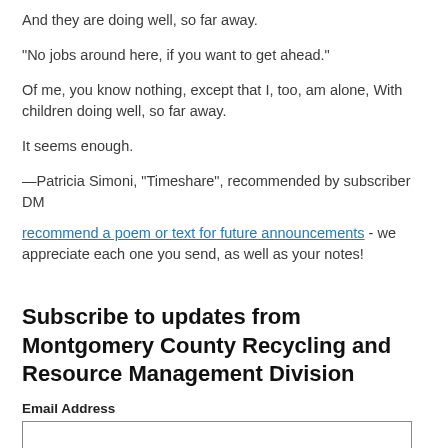And they are doing well, so far away.
"No jobs around here, if you want to get ahead."
Of me, you know nothing, except that I, too, am alone, With children doing well, so far away.
It seems enough.
—Patricia Simoni, "Timeshare", recommended by subscriber DM
recommend a poem or text for future announcements - we appreciate each one you send, as well as your notes!
Subscribe to updates from Montgomery County Recycling and Resource Management Division
Email Address